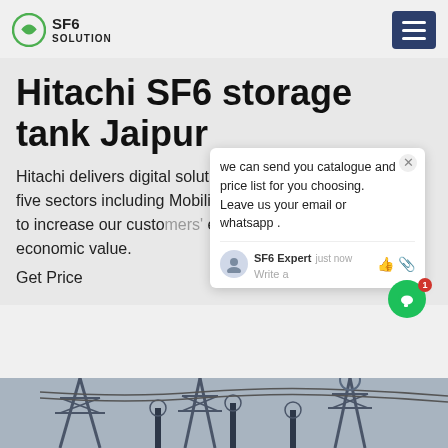SF6 SOLUTION
Hitachi SF6 storage tank Jaipur
Hitachi delivers digital solutions utilizing lumade in five sectors including Mobility, Smart y, Energy and IT, to increase our custo environmental and economic value.
Get Price
[Figure (screenshot): Chat popup with message: we can send you catalogue and price list for you choosing. Leave us your email or whatsapp. SF6 Expert - just now. Write a message field with like and attachment icons.]
[Figure (photo): Electrical substation with high voltage towers, insulators, and cables against a grey sky.]